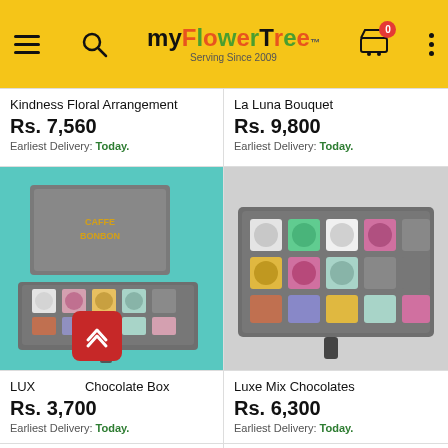MyFlowerTree – Serving Since 2009
Kindness Floral Arrangement
Rs. 7,560
Earliest Delivery: Today.
La Luna Bouquet
Rs. 9,800
Earliest Delivery: Today.
[Figure (photo): A gray luxury chocolate box (Caffe Bonbon) with teal background, open showing assorted decorated chocolates in two rows.]
[Figure (photo): A gray luxury chocolate box open showing assorted decorated chocolates in two rows, on a light gray background.]
Luxe Chocolate Box
Rs. 3,700
Earliest Delivery: Today.
Luxe Mix Chocolates
Rs. 6,300
Earliest Delivery: Today.